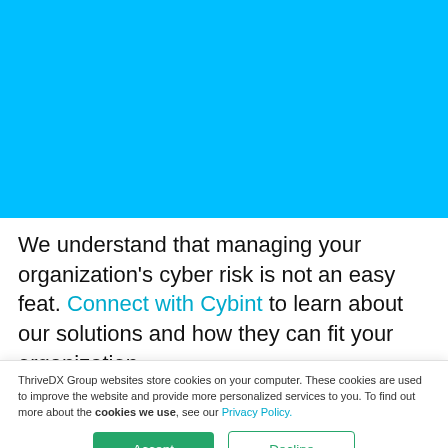Exciting News: Cybint joins ThriveDX - …
[Figure (other): Blue background hero section of a website]
We understand that managing your organization's cyber risk is not an easy feat. Connect with Cybint to learn about our solutions and how they can fit your organization
ThriveDX Group websites store cookies on your computer. These cookies are used to improve the website and provide more personalized services to you. To find out more about the cookies we use, see our Privacy Policy.